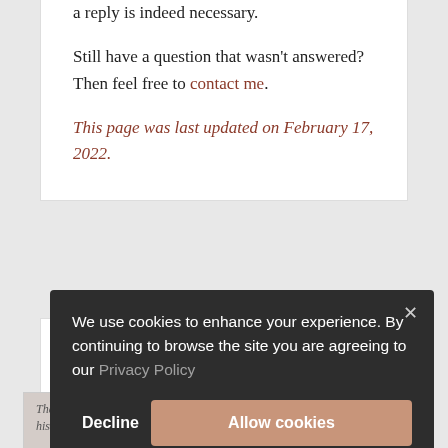a reply is indeed necessary.
Still have a question that wasn't answered? Then feel free to contact me.
This page was last updated on February 17, 2022.
Current projects
We use cookies to enhance your experience. By continuing to browse the site you are agreeing to our Privacy Policy
Decline
Allow cookies
ie Oppenheimer
The story of J... scientist R... and his role in the development of the atomic bomb